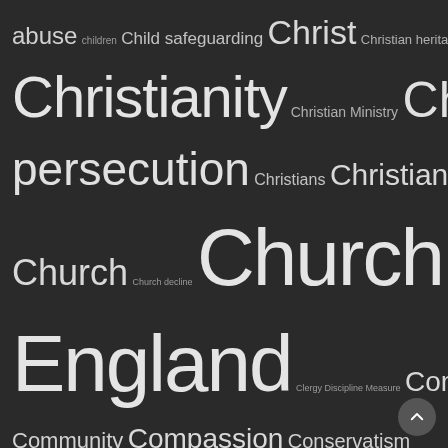[Figure (infographic): Word cloud on dark background showing various topic tags related to Christianity, UK politics, and society. Words vary in size indicating frequency/importance. Terms include: abuse, children, Child safeguarding, Christ, Christian heritage, Christianity, Christian Ministry, Christian persecution, Christians, Christian witness, Christmas, Church, Church decline, Church of England, Clergy Discipline Measure, Common Good, Community, Compassion, Conservatism, Conservative Party, Coronavirus, Covid-19, Creation, Cross, Culture, David Cameron, Democracy, Discrimination, Diversity, Division, Donald Trump, Ecumenism, Education, Elites, Equality, Eschatology, Establishment, Ethics, EU, EU Referendum, Europe, European Union, Evil, Extremism, Faith, False Prophets, Freedom]